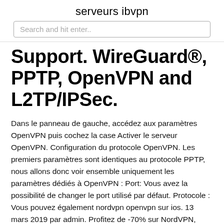serveurs ibvpn
Search and hit enter..
Support. WireGuard®, PPTP, OpenVPN and L2TP/IPSec.
Dans le panneau de gauche, accédez aux paramètres OpenVPN puis cochez la case Activer le serveur OpenVPN. Configuration du protocole OpenVPN. Les premiers paramètres sont identiques au protocole PPTP, nous allons donc voir ensemble uniquement les paramètres dédiés à OpenVPN : Port: Vous avez la possibilité de changer le port utilisé par défaut. Protocole : Vous pouvez également nordvpn openvpn sur ios. 13 mars 2019 par admin. Profitez de -70% sur NordVPN, offre temporaire aujourd'hui ! PROFITER DE L'OFFRE 🏆🏆🏆🏆🏆 - VPN #1 en France (2020) Enregistré au Panama, NordVPN est un fournisseur de VPN extrêmement populaire qui compte plus de 12 millions de clients dans le monde entier. L'entreprise se vend sur les fonctionnalités, et il